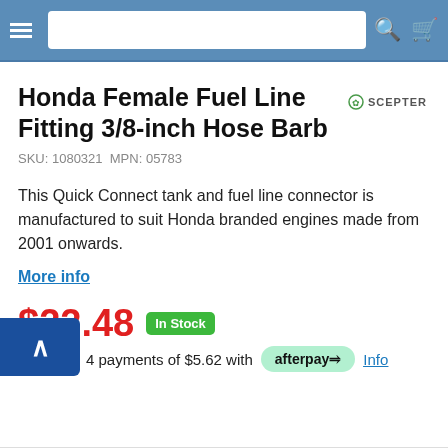Navigation bar with menu, search, and cart icons
Honda Female Fuel Line Fitting 3/8-inch Hose Barb
SKU: 1080321  MPN: 05783
This Quick Connect tank and fuel line connector is manufactured to suit Honda branded engines made from 2001 onwards.
More info
$22.48  In Stock
4 payments of $5.62 with afterpay  Info